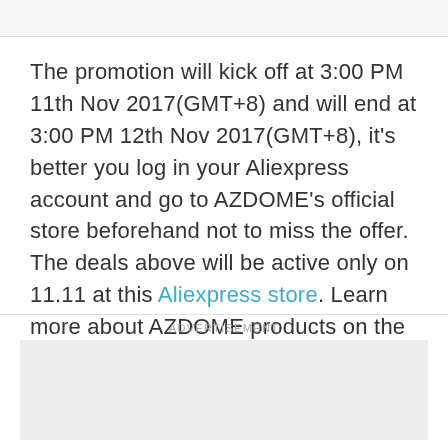The promotion will kick off at 3:00 PM 11th Nov 2017(GMT+8) and will end at 3:00 PM 12th Nov 2017(GMT+8), it's better you log in your Aliexpress account and go to AZDOME's official store beforehand not to miss the offer. The deals above will be active only on 11.11 at this Aliexpress store. Learn more about AZDOME products on the company's official website.
ADVERTISEMENT